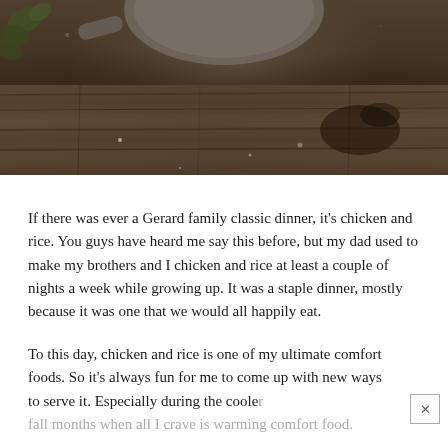[Figure (photo): Overhead photo of a metal pot or bowl on weathered dark wooden planks, with green leaves visible in the top-left corner. Dark, moody food photography style.]
If there was ever a Gerard family classic dinner, it's chicken and rice. You guys have heard me say this before, but my dad used to make my brothers and I chicken and rice at least a couple of nights a week while growing up. It was a staple dinner, mostly because it was one that we would all happily eat.
To this day, chicken and rice is one of my ultimate comfort foods. So it's always fun for me to come up with new ways to serve it. Especially during the cooler fall months when all I crave is warming comfort food.
ti... n... ...t...b...l...